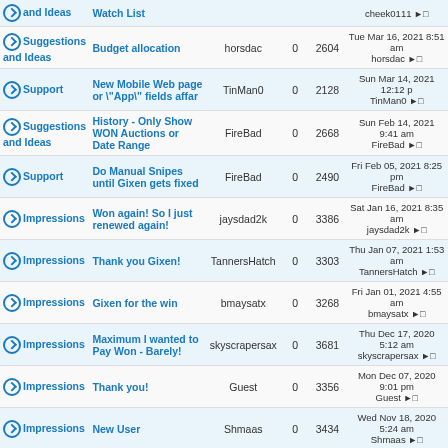| Category | Topic | Author | Replies | Views | Last Post |
| --- | --- | --- | --- | --- | --- |
| and Ideas | Watch List |  |  |  | cheek0111 → |
| Suggestions and Ideas | Budget allocation | horsdac | 0 | 2604 | Tue Mar 16, 2021 8:51 am horsdac → |
| Support | New Mobile Web page or "App" fields affar | TinMan0 | 0 | 2128 | Sun Mar 14, 2021 12:12 p TinMan0 → |
| Suggestions and Ideas | History - Only Show WON Auctions or Date Range | FireBad | 0 | 2668 | Sun Feb 14, 2021 9:41 am FireBad → |
| Support | Do Manual Snipes until Gixen gets fixed | FireBad | 0 | 2490 | Fri Feb 05, 2021 8:25 pm FireBad → |
| Impressions | Won again! So I just renewed again! | jaysdad2k | 0 | 3386 | Sat Jan 16, 2021 8:35 am jaysdad2k → |
| Impressions | Thank you Gixen! | TannersHatch | 0 | 3303 | Thu Jan 07, 2021 1:53 am TannersHatch → |
| Impressions | Gixen for the win | bmaysatx | 0 | 3268 | Fri Jan 01, 2021 4:55 am bmaysatx → |
| Impressions | Maximum I wanted to Pay Won - Barely! | skyscrapersax | 0 | 3681 | Thu Dec 17, 2020 5:12 am skyscrapersax → |
| Impressions | Thank you! | Guest | 0 | 3356 | Mon Dec 07, 2020 9:01 pm Guest → |
| Impressions | New User | Shmaas | 0 | 3434 | Wed Nov 18, 2020 5:24 am Shmaas → |
| Support | iPhone App Feedback | sliderulealley | 0 | 2749 | Sat Nov 14, 2020 12:29 pm sliderulealley → |
| Impressions | Site works well | lysergicfuneral | 0 | 3753 | Mon Oct 12, 2020 8:36 pm lysergicfuneral → |
| Suggestions | Confirm bid over certain | wimmer | 0 | 3300 | Sun Oct 11, 2020 10:37 pm |